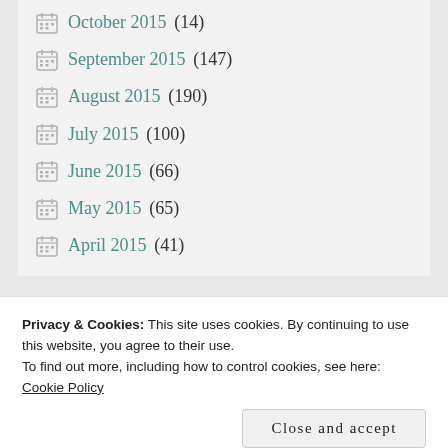October 2015 (14)
September 2015 (147)
August 2015 (190)
July 2015 (100)
June 2015 (66)
May 2015 (65)
April 2015 (41)
[Figure (screenshot): Search bar with text input showing 'Search ...' placeholder and a red SEARCH button]
Privacy & Cookies: This site uses cookies. By continuing to use this website, you agree to their use. To find out more, including how to control cookies, see here: Cookie Policy
Close and accept
WEBSITE.115.46